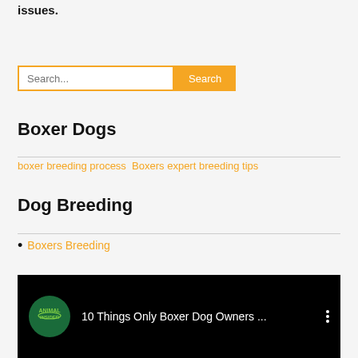issues.
Search...
Boxer Dogs
boxer breeding process  Boxers expert breeding tips
Dog Breeding
Boxers Breeding
[Figure (screenshot): YouTube video thumbnail with Animal Insider logo and title '10 Things Only Boxer Dog Owners ...' on a black background]